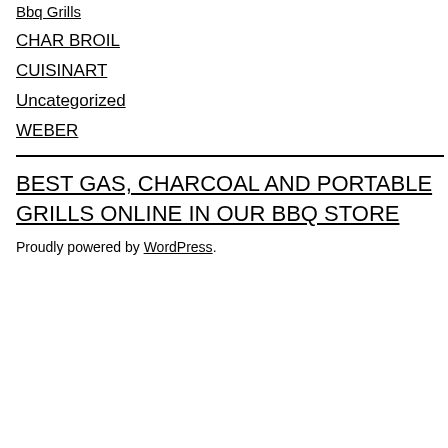Bbq Grills
CHAR BROIL
CUISINART
Uncategorized
WEBER
BEST GAS, CHARCOAL AND PORTABLE GRILLS ONLINE IN OUR BBQ STORE
Proudly powered by WordPress.